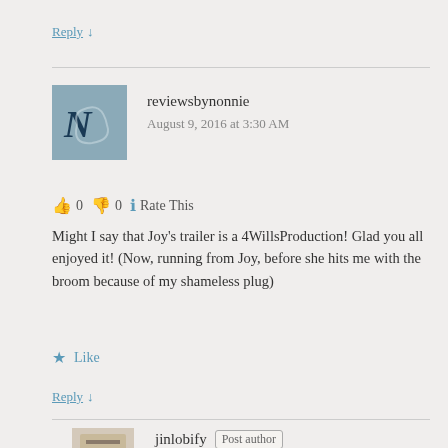Reply ↓
reviewsbynonnie
August 9, 2016 at 3:30 AM
👍 0 👎 0 ℹ Rate This
Might I say that Joy's trailer is a 4WillsProduction! Glad you all enjoyed it! (Now, running from Joy, before she hits me with the broom because of my shameless plug)
★ Like
Reply ↓
jinlobify Post author
August 9, 2016 at 11:26 AM